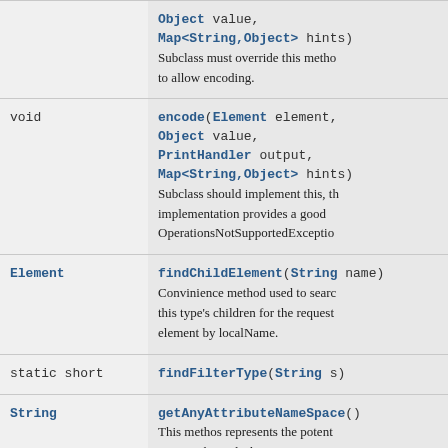| Return Type | Method/Description |
| --- | --- |
|  | Object value,
Map<String,Object> hints)
Subclass must override this method to allow encoding. |
| void | encode(Element element,
Object value,
PrintHandler output,
Map<String,Object> hints)
Subclass should implement this, the implementation provides a good OperationsNotSupportedException |
| Element | findChildElement(String name)
Convinience method used to search this type's children for the requested element by localName. |
| static short | findFilterType(String s) |
| String | getAnyAttributeNameSpace()
This methos represents the potential 'anyAttribute' declaration's namespace attribute which may... |